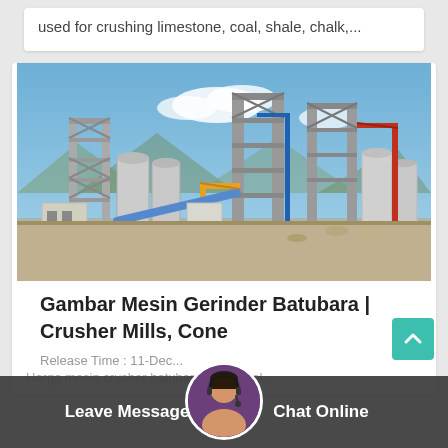used for crushing limestone, coal, shale, chalk,...
[Figure (photo): Industrial facility under construction showing steel frameworks, cranes, silos, and conveyor systems at a mining or cement plant site.]
Gambar Mesin Gerinder Batubara | Crusher Mills, Cone
Release Time : 11-Dec...
Harga mesin crusher batubara ... mineral...
Leave Message   Chat Online